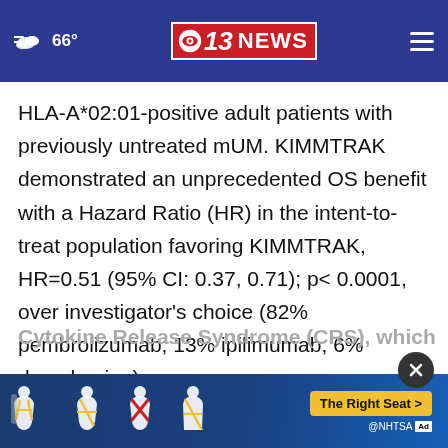CBS 13 NEWS — 66°
HLA-A*02:01-positive adult patients with previously untreated mUM. KIMMTRAK demonstrated an unprecedented OS benefit with a Hazard Ratio (HR) in the intent-to-treat population favoring KIMMTRAK, HR=0.51 (95% CI: 0.37, 0.71); p< 0.0001, over investigator's choice (82% pembrolizumab; 13% ipilimumab; 6% dacarbazine).
IMPORTANT SAFETY INFORMATION
Cytokine Release Syndrome (CRS), which
[Figure (screenshot): Advertisement banner from NHTSA showing car seat safety icons with text 'The Right Seat >' and '@NHTSA' branding, with a circular close button (×) in the upper right.]